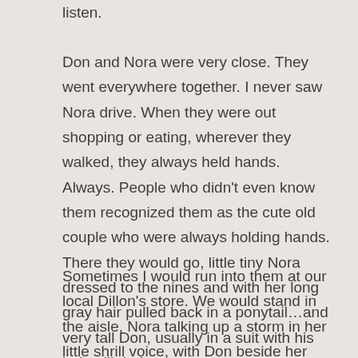listen.
Don and Nora were very close.  They went everywhere together.  I never saw Nora drive.  When they were out shopping or eating, wherever they walked, they always held hands.  Always.  People who didn't even know them recognized them as the cute old couple who were always holding hands.  There they would go, little tiny Nora dressed to the nines and with her long gray hair pulled back in a ponytail…and very tall Don, usually in a suit with his hair still dark.
Sometimes I would run into them at our local Dillon's store.  We would stand in the aisle, Nora talking up a storm in her little shrill voice, with Don beside her smiling as usual.  The last time I saw them there, I